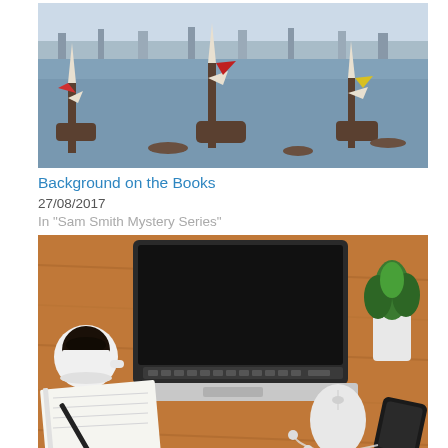[Figure (illustration): Historical painting/etching of a harbor scene with tall sailing ships with flags, a city skyline in the background across the water]
Background on the Books
27/08/2017
In "Sam Smith Mystery Series"
[Figure (photo): Overhead flat-lay photo of a wooden desk with a laptop, coffee cup, notepad with pen, plant, mouse, and smartphone with earbuds]
Sam's Diary #7